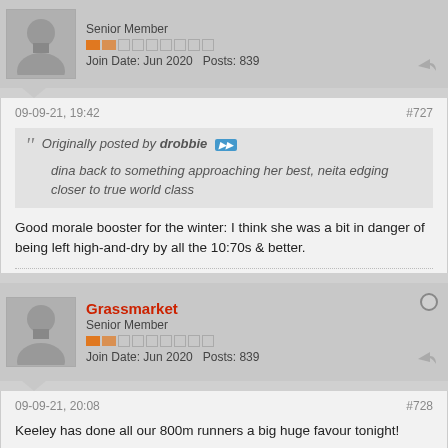Senior Member
Join Date: Jun 2020  Posts: 839
09-09-21, 19:42
#727
Originally posted by drobbie
dina back to something approaching her best, neita edging closer to true world class
Good morale booster for the winter: I think she was a bit in danger of being left high-and-dry by all the 10:70s & better.
Grassmarket
Senior Member
Join Date: Jun 2020  Posts: 839
09-09-21, 20:08
#728
Keeley has done all our 800m runners a big huge favour tonight!